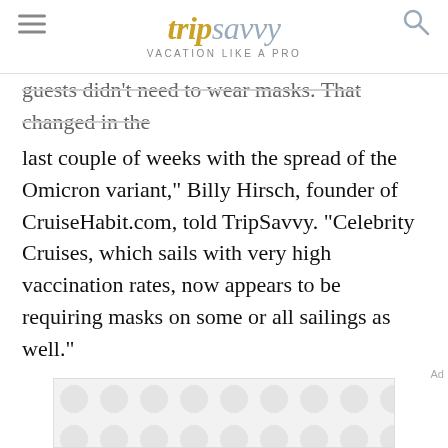trip savvy — VACATION LIKE A PRO
guests didn't need to wear masks. That changed in the last couple of weeks with the spread of the Omicron variant," Billy Hirsch, founder of CruiseHabit.com, told TripSavvy. "Celebrity Cruises, which sails with very high vaccination rates, now appears to be requiring masks on some or all sailings as well."
Advertisement